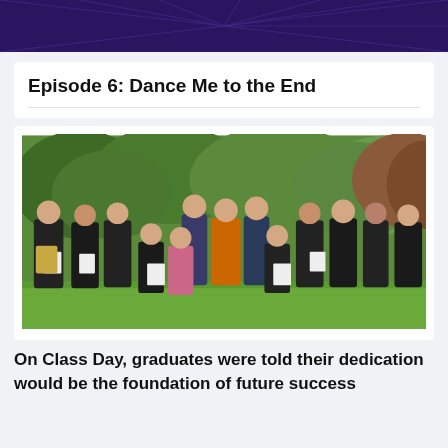Episode 06: Dance Me to the End
Episode 6: Dance Me to the End
[Figure (photo): Group photo of approximately 18 students and faculty wearing black and orange jerseys/team jackets, holding certificates, posing outdoors on grass with trees in the background. Some individuals are kneeling in the front row, others standing in the back. One person in the center wears an orange jacket.]
On Class Day, graduates were told their dedication would be the foundation of future success